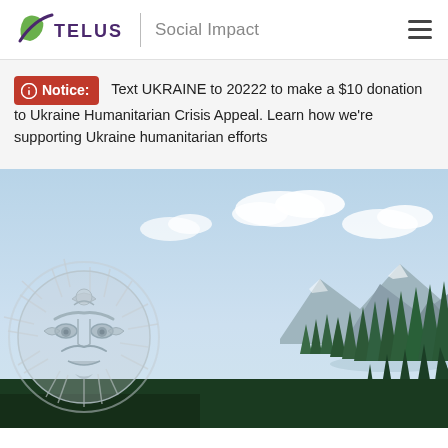TELUS | Social Impact
Notice: Text UKRAINE to 20222 to make a $10 donation to Ukraine Humanitarian Crisis Appeal. Learn how we're supporting Ukraine humanitarian efforts
[Figure (photo): Scenic mountain landscape with tall evergreen trees, a mountain lake, rocky peaks and blue sky with clouds. Overlaid on the left is a large circular indigenous art design featuring a stylized face/sun motif in white/grey tones.]